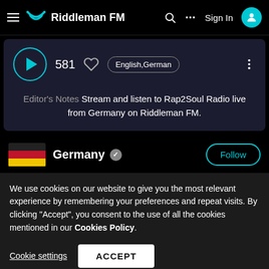Riddleman FM — Sign In
[Figure (screenshot): Radio player card with play button, listener count 581, heart icon, English/German language pill, and vertical dots menu]
Editor's Notes Stream and listen to Rap2Soul Radio live from Germany on Riddleman FM.
Germany ✓  Follow
We use cookies on our website to give you the most relevant experience by remembering your preferences and repeat visits. By clicking "Accept", you consent to the use of all the cookies mentioned in our Cookies Policy.
Cookie settings  ACCEPT